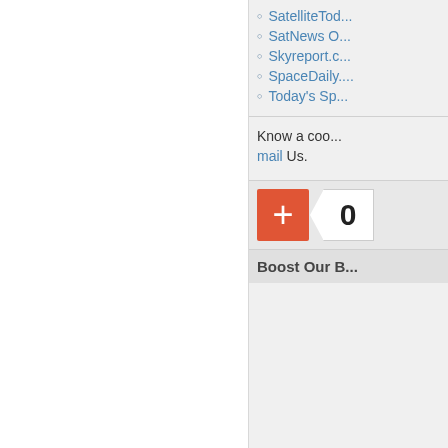SatelliteTod...
SatNews O...
Skyreport.c...
SpaceDaily....
Today's Spa...
Know a cool... mail Us.
[Figure (other): Orange plus button and count box showing 0, with Boost Our B... label below]
Boost Our B...